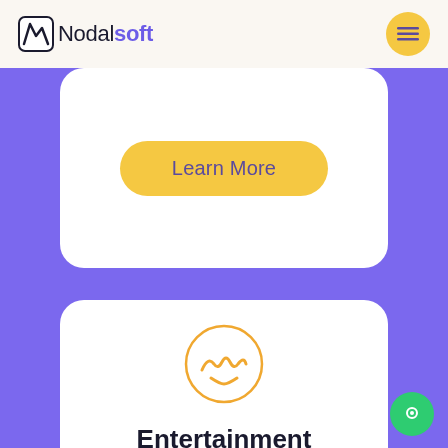Nodalsoft
[Figure (illustration): Learn More button — yellow/amber pill-shaped button with text 'Learn More' in purple, inside a white rounded card on purple background]
[Figure (logo): Circle icon with stylized wave/squiggle symbol in orange/amber color, representing entertainment category]
Entertainment